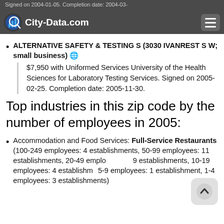Signed on 2004-01-05. Completion date: 2004-03-
City-Data.com
ALTERNATIVE SAFETY & TESTING S (3030 IVANREST S W; small business)
$7,950 with Uniformed Services University of the Health Sciences for Laboratory Testing Services. Signed on 2005-02-25. Completion date: 2005-11-30.
Top industries in this zip code by the number of employees in 2005:
Accommodation and Food Services: Full-Service Restaurants (100-249 employees: 4 establishments, 50-99 employees: 11 establishments, 20-49 employees: 9 establishments, 10-19 employees: 4 establishments, 5-9 employees: 1 establishment, 1-4 employees: 3 establishments)